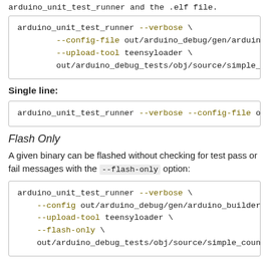arduino_unit_test_runner and the .elf file.
arduino_unit_test_runner --verbose \
        --config-file out/arduino_debug/gen/arduino_bu
        --upload-tool teensyloader \
        out/arduino_debug_tests/obj/source/simple_cou
Single line:
arduino_unit_test_runner --verbose --config-file o
Flash Only
A given binary can be flashed without checking for test pass or fail messages with the --flash-only option:
arduino_unit_test_runner --verbose \
    --config out/arduino_debug/gen/arduino_builder_
    --upload-tool teensyloader \
    --flash-only \
    out/arduino_debug_tests/obj/source/simple_count